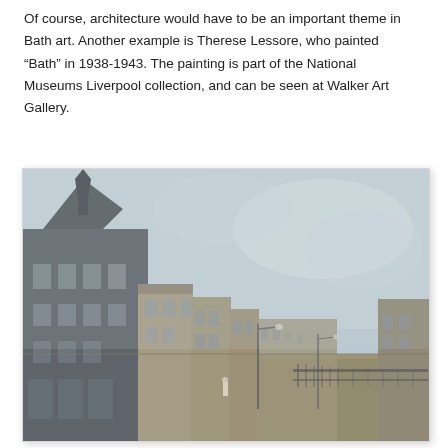Of course, architecture would have to be an important theme in Bath art.  Another example is Therese Lessore, who painted “Bath” in 1938-1943.  The painting is part of the National Museums Liverpool collection, and can be seen at Walker Art Gallery.
[Figure (illustration): A painting of a Bath street scene showing Victorian/Georgian architectural buildings with a large ornate building on the left, a long terrace receding into the distance, a street lamp, iron railings, and a light blue-grey sky. The style is muted and sketchy, consistent with Therese Lessore's 'Bath' (1938-1943).]